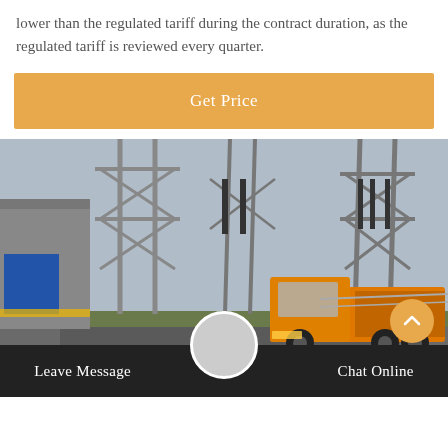lower than the regulated tariff during the contract duration, as the regulated tariff is reviewed every quarter.
[Figure (other): Orange button/banner with text 'Get Price']
[Figure (photo): Photo of an electrical substation with large transmission towers and an orange delivery truck on a road in the foreground. A building with a blue panel is visible on the left.]